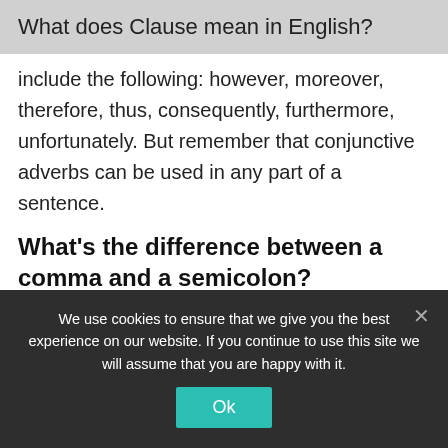What does Clause mean in English?
include the following: however, moreover, therefore, thus, consequently, furthermore, unfortunately. But remember that conjunctive adverbs can be used in any part of a sentence.
What’s the difference between a comma and a semicolon?
Commas are used especially as a mark of separation within the sentence; semicolons are used to connect independent clauses
We use cookies to ensure that we give you the best experience on our website. If you continue to use this site we will assume that you are happy with it.